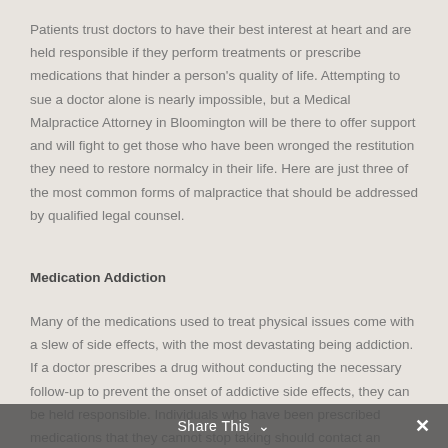Patients trust doctors to have their best interest at heart and are held responsible if they perform treatments or prescribe medications that hinder a person's quality of life. Attempting to sue a doctor alone is nearly impossible, but a Medical Malpractice Attorney in Bloomington will be there to offer support and will fight to get those who have been wronged the restitution they need to restore normalcy in their life. Here are just three of the most common forms of malpractice that should be addressed by qualified legal counsel.
Medication Addiction
Many of the medications used to treat physical issues come with a slew of side effects, with the most devastating being addiction. If a doctor prescribes a drug without conducting the necessary follow-up to prevent the onset of addictive side effects, they can be held responsible. Individuals who have been prescribed medications that they cannot stop taking should contact an attorney to see what rights they may have under the law.
Share This ∨  ✕